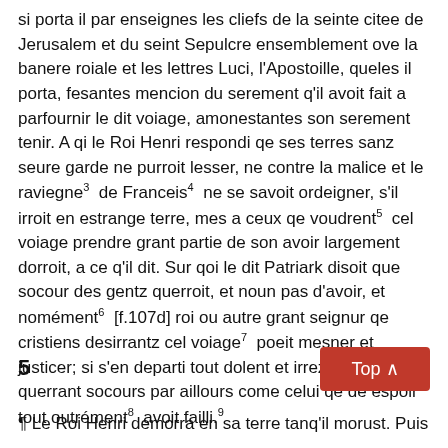si porta il par enseignes les cliefs de la seinte citee de Jerusalem et du seint Sepulcre ensemblement ove la banere roiale et les lettres Luci, l'Apostoille, queles il porta, fesantes mencion du serement q'il avoit fait a parfournir le dit voiage, amonestantes son serement tenir. A qi le Roi Henri respondi qe ses terres sanz seure garde ne purroit lesser, ne contre la malice et le raviegne³  de Franceis⁴  ne se savoit ordeigner, s'il irroit en estrange terre, mes a ceux qe voudrent⁵  cel voiage prendre grant partie de son avoir largement dorroit, a ce q'il dit. Sur qoi le dit Patriark disoit que socour des gentz querroit, et noun pas d'avoir, et nomément⁶  [f.107d] roi ou autre grant seignur qe cristiens desirrantz cel voiage⁷  poeit mesner et justicer; si s'en departi tout dolent et irrez a demesure, querrant socours par aillours come celui qe de espoir tout outrément⁸  avoit failli.⁹
5
¶ Le Roi Henri demorra en sa terre tanq'il morust. Puis